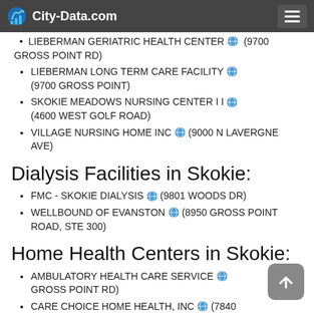City-Data.com
LIEBERMAN GERIATRIC HEALTH CENTER (9700 GROSS POINT RD)
LIEBERMAN LONG TERM CARE FACILITY (9700 GROSS POINT)
SKOKIE MEADOWS NURSING CENTER I I (4600 WEST GOLF ROAD)
VILLAGE NURSING HOME INC (9000 N LAVERGNE AVE)
Dialysis Facilities in Skokie:
FMC - SKOKIE DIALYSIS (9801 WOODS DR)
WELLBOUND OF EVANSTON (8950 GROSS POINT ROAD, STE 300)
Home Health Centers in Skokie:
AMBULATORY HEALTH CARE SERVICE (GROSS POINT RD)
CARE CHOICE HOME HEALTH, INC (7840